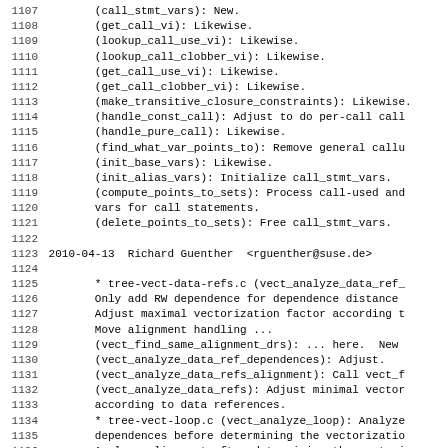Source code changelog/diff listing lines 1107-1138
1107    (call_stmt_vars): New.
1108    (get_call_vi): Likewise.
1109    (lookup_call_use_vi): Likewise.
1110    (lookup_call_clobber_vi): Likewise.
1111    (get_call_use_vi): Likewise.
1112    (get_call_clobber_vi): Likewise.
1113    (make_transitive_closure_constraints): Likewise.
1114    (handle_const_call): Adjust to do per-call call
1115    (handle_pure_call): Likewise.
1116    (find_what_var_points_to): Remove general callu
1117    (init_base_vars): Likewise.
1118    (init_alias_vars): Initialize call_stmt_vars.
1119    (compute_points_to_sets): Process call-used and
1120    vars for call statements.
1121    (delete_points_to_sets): Free call_stmt_vars.
1122
1123 2010-04-13  Richard Guenther  <rguenther@suse.de>
1124
1125    * tree-vect-data-refs.c (vect_analyze_data_ref_
1126    Only add RW dependence for dependence distance
1127    Adjust maximal vectorization factor according t
1128    Move alignment handling ...
1129    (vect_find_same_alignment_drs): ... here.  New
1130    (vect_analyze_data_ref_dependences): Adjust.
1131    (vect_analyze_data_refs_alignment): Call vect_f
1132    (vect_analyze_data_refs): Adjust minimal vector
1133    according to data references.
1134    * tree-vect-loop.c (vect_analyze_loop): Analyze
1135    dependences before determining the vectorizatio
1136    Analyze alignment after determining the vectori
1137    * tree-vect-slp.c ((vect_slp_analyze_bb): Analy
1138    dependences before alignment.